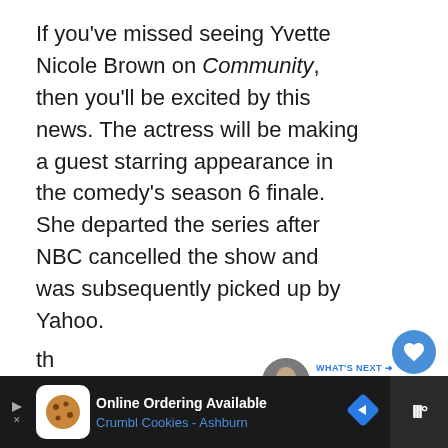If you've missed seeing Yvette Nicole Brown on Community, then you'll be excited by this news. The actress will be making a guest starring appearance in the comedy's season 6 finale. She departed the series after NBC cancelled the show and was subsequently picked up by Yahoo.

According to Yahoo Screen via Zap2It, the finale episode will see Abed asking to imagine pitching a TV show about what th...
[Figure (photo): Circular avatar photo of a bald man with a beard, used as a 'What's Next' thumbnail.]
[Figure (infographic): Advertisement bar at the bottom: Crumbl Cookies - Ashburn, Online Ordering Available, with cookie icon and navigation arrow.]